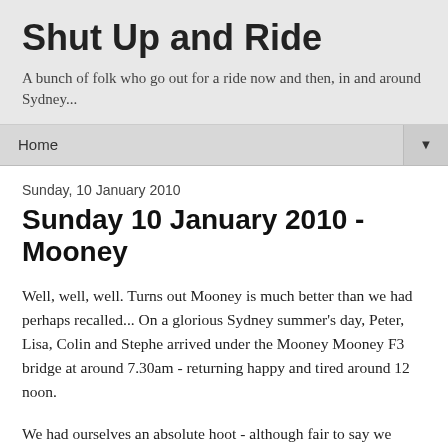Shut Up and Ride
A bunch of folk who go out for a ride now and then, in and around Sydney...
Home ▼
Sunday, 10 January 2010
Sunday 10 January 2010 - Mooney
Well, well, well. Turns out Mooney is much better than we had perhaps recalled... On a glorious Sydney summer's day, Peter, Lisa, Colin and Stephe arrived under the Mooney Mooney F3 bridge at around 7.30am - returning happy and tired around 12 noon.
We had ourselves an absolute hoot - although fair to say we